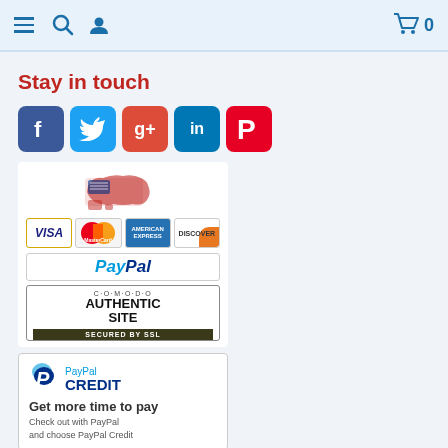Navigation header with hamburger menu, search, user icon, and cart (0)
Stay in touch
[Figure (illustration): Social media icon buttons: Facebook, Twitter, Google+, LinkedIn, Pinterest]
[Figure (illustration): Payment badges: US flag map, Visa, MasterCard, American Express, Discover, PayPal, Comodo Authentic Site Secured by SSL]
[Figure (illustration): PayPal Credit box: Get more time to pay. Check out with PayPal and choose PayPal Credit]